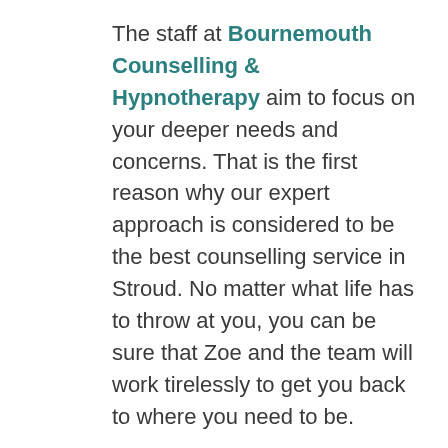The staff at Bournemouth Counselling & Hypnotherapy aim to focus on your deeper needs and concerns. That is the first reason why our expert approach is considered to be the best counselling service in Stroud. No matter what life has to throw at you, you can be sure that Zoe and the team will work tirelessly to get you back to where you need to be.
Also, our caring and understanding staff focus on helping you through your therapy. Although we are here to look after you on your journey towards better well-being, we also prioritise your comfort and never push the boundary you set with us. We want you to feel comfortable and at